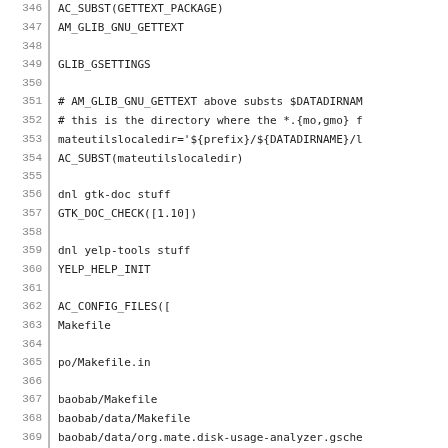346 AC_SUBST(GETTEXT_PACKAGE)
347 AM_GLIB_GNU_GETTEXT
348 
349 GLIB_GSETTINGS
350 
351 # AM_GLIB_GNU_GETTEXT above substs $DATADIRNAM
352 # this is the directory where the *.{mo,gmo} f
353 mateutilslocaledir='${prefix}/${DATADIRNAME}/l
354 AC_SUBST(mateutilslocaledir)
355 
356 dnl gtk-doc stuff
357 GTK_DOC_CHECK([1.10])
358 
359 dnl yelp-tools stuff
360 YELP_HELP_INIT
361 
362 AC_CONFIG_FILES([
363 Makefile
364 
365 po/Makefile.in
366 
367 baobab/Makefile
368 baobab/data/Makefile
369 baobab/data/org.mate.disk-usage-analyzer.gsche
370 baobab/pixmaps/Makefile
371 baobab/pixmaps/24x24/Makefile
372 baobab/pixmaps/scalable/Makefile
373 baobab/src/Makefile
374 baobab/help/Makefile
375